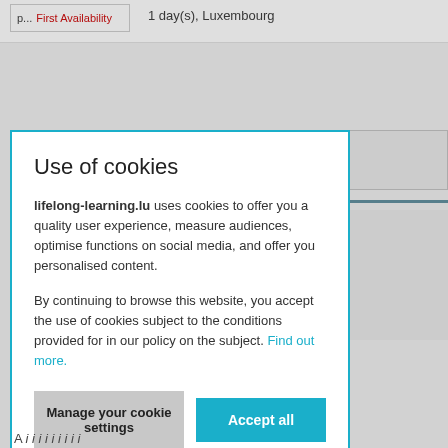| p... | First Availability | 1 day(s), Luxembourg |
lies solely
Use of cookies
lifelong-learning.lu uses cookies to offer you a quality user experience, measure audiences, optimise functions on social media, and offer you personalised content.

By continuing to browse this website, you accept the use of cookies subject to the conditions provided for in our policy on the subject. Find out more.
Manage your cookie settings
Accept all